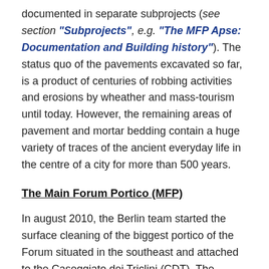documented in separate subprojects (see section "Subprojects", e.g. "The MFP Apse: Documentation and Building history"). The status quo of the pavements excavated so far, is a product of centuries of robbing activities and erosions by wheather and mass-tourism until today. However, the remaining areas of pavement and mortar bedding contain a huge variety of traces of the ancient everyday life in the centre of a city for more than 500 years.
The Main Forum Portico (MFP)
In august 2010, the Berlin team started the surface cleaning of the biggest portico of the Forum situated in the southeast and attached to the Caseggiato dei Triclini (CDT). The archaeological surface cleaning proceeded from south to north and covered 20 grids, each measuring 5 by 5 m (see pictures below).